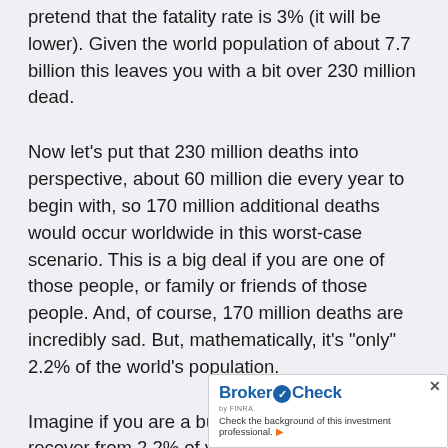pretend that the fatality rate is 3% (it will be lower). Given the world population of about 7.7 billion this leaves you with a bit over 230 million dead.
Now let’s put that 230 million deaths into perspective, about 60 million die every year to begin with, so 170 million additional deaths would occur worldwide in this worst-case scenario. This is a big deal if you are one of those people, or family or friends of those people. And, of course, 170 million deaths are incredibly sad. But, mathematically, it’s “only” 2.2% of the world’s population.
Imagine if you are a business. Could you recover from 2.2% of your employees quitting? Could you recover from 2.2% of your customers du…
[Figure (other): BrokerCheck by FINRA advertisement banner with logo and tagline: Check the background of this investment professional.]